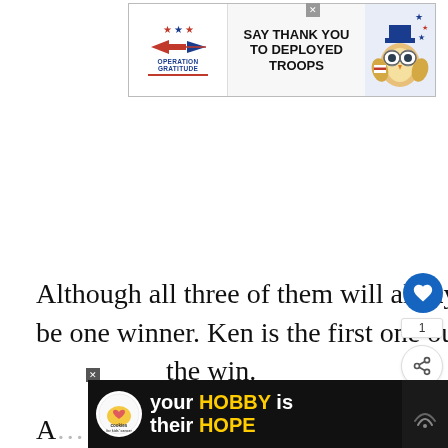[Figure (infographic): Operation Gratitude advertisement banner: 'SAY THANK YOU TO DEPLOYED TROOPS' with patriotic logo, stars, and cartoon owl character]
Although all three of them will always be All Stars, there can only be one winner. Ken is the first one out, so it's between Kini and [Buddy for] the win.
[Figure (infographic): Cookies for Kids' Cancer advertisement: 'your HOBBY is their HOPE' on dark background with cookie logo]
A...